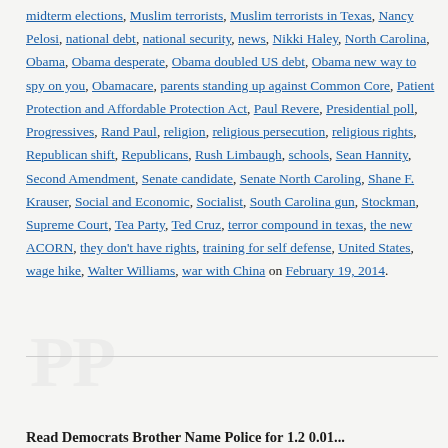midterm elections, Muslim terrorists, Muslim terrorists in Texas, Nancy Pelosi, national debt, national security, news, Nikki Haley, North Carolina, Obama, Obama desperate, Obama doubled US debt, Obama new way to spy on you, Obamacare, parents standing up against Common Core, Patient Protection and Affordable Protection Act, Paul Revere, Presidential poll, Progressives, Rand Paul, religion, religious persecution, religious rights, Republican shift, Republicans, Rush Limbaugh, schools, Sean Hannity, Second Amendment, Senate candidate, Senate North Caroling, Shane F. Krauser, Social and Economic, Socialist, South Carolina gun, Stockman, Supreme Court, Tea Party, Ted Cruz, terror compound in texas, the new ACORN, they don't have rights, training for self defense, United States, wage hike, Walter Williams, war with China on February 19, 2014.